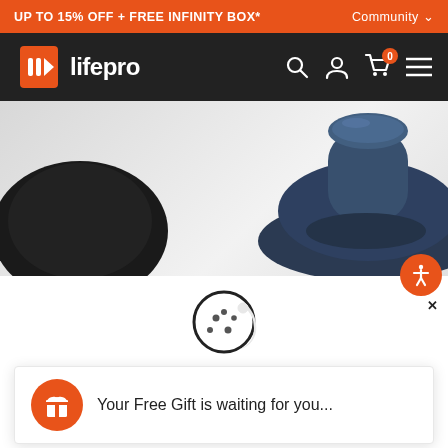UP TO 15% OFF + FREE INFINITY BOX*   Community ∨
[Figure (logo): Lifepro logo: orange play-button triangle with vertical bar lines, next to white text 'lifepro']
[Figure (screenshot): Product photo of dark/navy wireless earbuds or massage device heads, partially visible]
[Figure (infographic): Cookie consent icon (cookie with bite taken out)]
Your Free Gift is waiting for you...
Ok